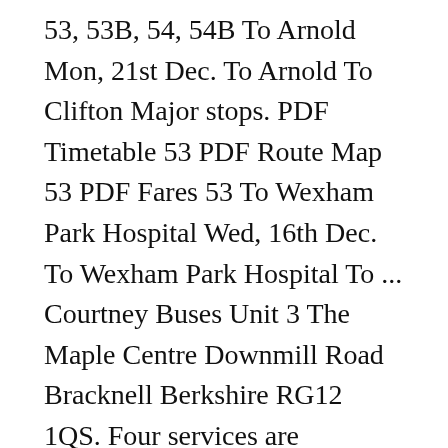53, 53B, 54, 54B To Arnold Mon, 21st Dec. To Arnold To Clifton Major stops. PDF Timetable 53 PDF Route Map 53 PDF Fares 53 To Wexham Park Hospital Wed, 16th Dec. To Wexham Park Hospital To ... Courtney Buses Unit 3 The Maple Centre Downmill Road Bracknell Berkshire RG12 1QS. Four services are operated. Service 53 is an inter-town route connecting the residential towns of Bishan, Serangoon Central, Lorong Ah Soo and Pasir Ris with Changi Airport. via Verrazano-Narrows Bridge / Clove Rd. The 53 Steeles East bus route operates between Finch Station on the Yonge-University-Spadina Subway, the area of Steeles Avenue East and Staines Road, generally